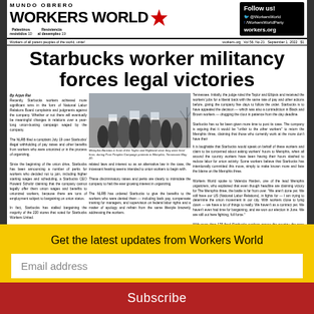MUNDO OBRERO WORKERS WORLD
Starbucks worker militancy forces legal victories
By Arjun Rai. Recently, Starbucks workers achieved more significant wins in the form of National Labor Relations Board complaints and judgments against the company. Whether or not there will eventually be meaningful changes in relations over a year-long union-busting campaign waged by the company...
[Figure (photo): Memphis Baristas in front of the Taylor and Highland store they were fired from, during Poor Peoples Campaign protests in Memphis, Tennessee May 20.]
Memphis Baristas in front of the Taylor and Highland store they were fired from, during Poor Peoples Campaign protests in Memphis, Tennessee May 20.
It is laughable that Starbucks would speak on behalf of these workers and claim to be concerned about asking workers' hours to Memphis, when all around the country workers have been having their hours slashed to reduce labor force costs...
Get the latest updates from Workers World
Email address
Subscribe